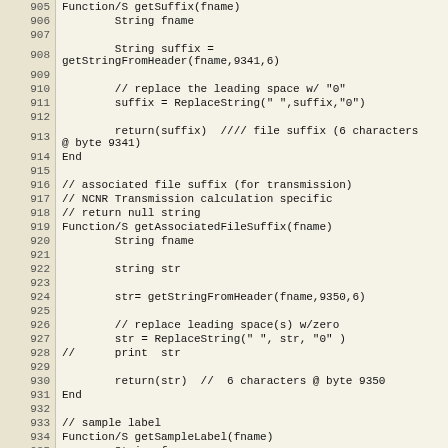[Figure (screenshot): Source code listing with line numbers 905-935, showing FileMaker/scripting code for functions getSuffix and getAssociatedFileSuffix and getSampleLabel]